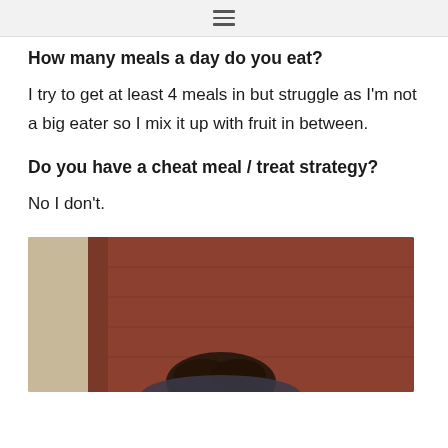≡
How many meals a day do you eat?
I try to get at least 4 meals in but struggle as I'm not a big eater so I mix it up with fruit in between.
Do you have a cheat meal / treat strategy?
No I don't.
[Figure (photo): Person viewed from above, sitting on a wooden floor or deck, showing top of head/hair. Background includes light-colored wall and reddish-brown wood flooring.]